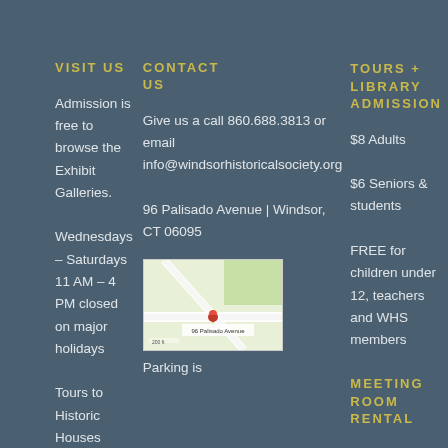VISIT US
Admission is free to browse the Exhibit Galleries.

Wednesdays – Saturdays 11 AM – 4 PM closed on major holidays

Tours to Historic Houses
CONTACT US
Give us a call 860.688.3813 or email info@windsorhistoricalsociety.org

96 Palisado Avenue | Windsor, CT 06095
[Figure (map): Google map showing 96 Palisado Avenue location with red pin marker]
Parking is
TOURS + LIBRARY ADMISSION
$8 Adults

$6 Seniors & students

FREE for children under 12, teachers and WHS members
MEETING ROOM RENTAL